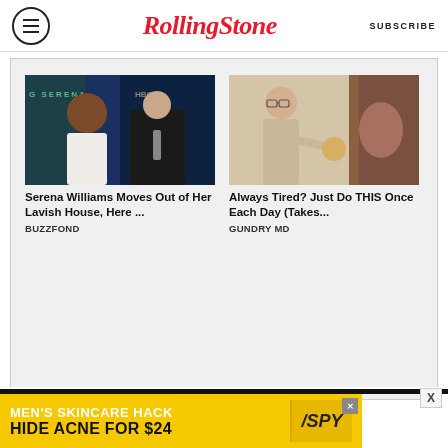Rolling Stone | SUBSCRIBE
[Figure (photo): Two sponsored content cards: (1) Serena Williams and a man at an HBO event with green backdrop text 'SERENA'; (2) A doctor in beige suit pointing at something, with another image beside it]
Serena Williams Moves Out of Her Lavish House, Here ...
BUZZFOND
Always Tired? Just Do THIS Once Each Day (Takes...
GUNDRY MD
[Figure (infographic): Bottom advertisement banner: MEN'S SKINCARE HACK / HIDE ACNE FOR $24 with SPY logo on yellow background]